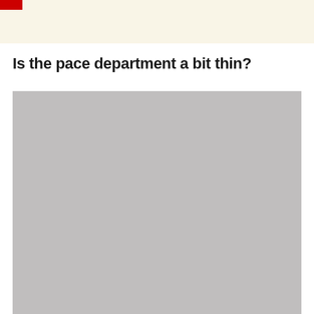Is the pace department a bit thin?
[Figure (photo): A large gray placeholder image occupying the lower portion of the page.]